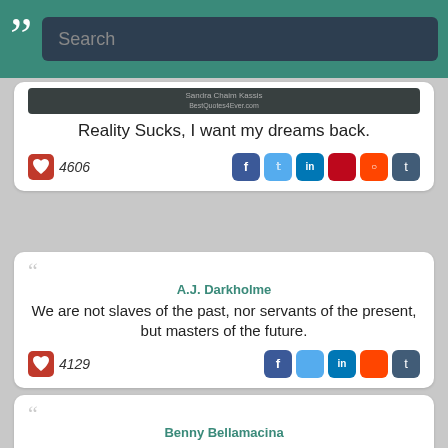Search
Reality Sucks, I want my dreams back.
4606
A.J. Darkholme — We are not slaves of the past, nor servants of the present, but masters of the future. 4129
Benny Bellamacina — When penciling in your future, always use a pen 4031
Mahatma Gandhi